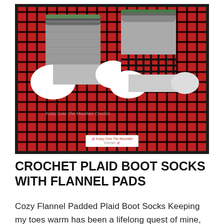[Figure (photo): Photo of crocheted plaid boot socks with flannel pads on a red and black buffalo plaid background, shown in a dark-bordered frame. A small logo badge is visible at the bottom center of the image.]
CROCHET PLAID BOOT SOCKS WITH FLANNEL PADS
Cozy Flannel Padded Plaid Boot Socks Keeping my toes warm has been a lifelong quest of mine, and for many others. I love designing new socks, and these
Privacy & Cookies: This site uses cookies. By continuing to use this website, you agree to their use.